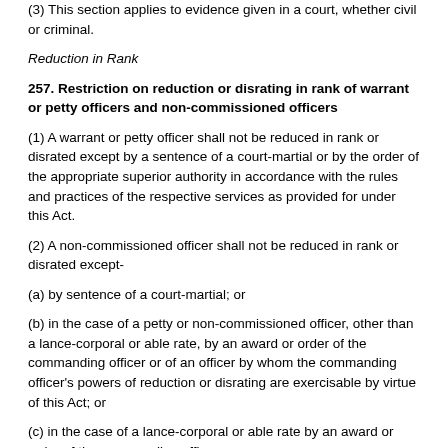(3) This section applies to evidence given in a court, whether civil or criminal.
Reduction in Rank
257. Restriction on reduction or disrating in rank of warrant or petty officers and non-commissioned officers
(1) A warrant or petty officer shall not be reduced in rank or disrated except by a sentence of a court-martial or by the order of the appropriate superior authority in accordance with the rules and practices of the respective services as provided for under this Act.
(2) A non-commissioned officer shall not be reduced in rank or disrated except-
(a) by sentence of a court-martial; or
(b) in the case of a petty or non-commissioned officer, other than a lance-corporal or able rate, by an award or order of the commanding officer or of an officer by whom the commanding officer's powers of reduction or disrating are exercisable by virtue of this Act; or
(c) in the case of a lance-corporal or able rate by an award or order of the commanding officer.